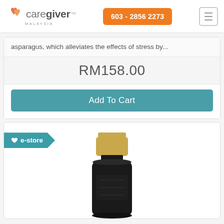[Figure (logo): CareGiver Malaysia logo with orange heart icons and tagline MALAYSIA]
603 - 2856 2273
asparagus, which alleviates the effects of stress by...
RM158.00
Add To Cart
[Figure (photo): Product bottle with gold cap and black body, shown partially, with e-store badge overlay]